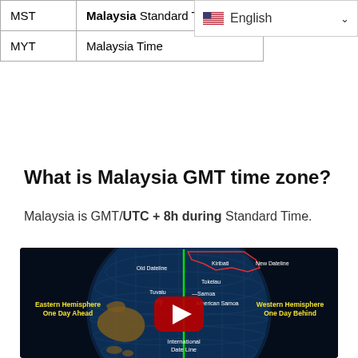|  |  |
| --- | --- |
| MST | Malaysia Standard Time |
| MYT | Malaysia Time |
What is Malaysia GMT time zone?
Malaysia is GMT/UTC + 8h during Standard Time.
[Figure (other): YouTube video thumbnail showing a globe with the International Date Line marked by a green vertical line, labels for Eastern Hemisphere One Day Ahead, Western Hemisphere One Day Behind, Kiribati, Tokelau, Tuvalu, Samoa, American Samoa, Fiji, Old Dateline, New Dateline, and International Date Line. Red YouTube play button overlay in the center.]